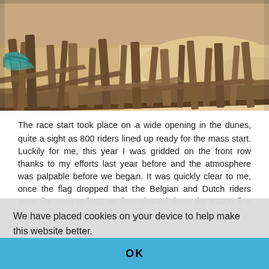[Figure (photo): Weathered wooden posts and driftwood on a sandy beach/dune landscape, with a teal fishing net tangled on the left side. Sandy dune terrain visible in the background.]
The race start took place on a wide opening in the dunes, quite a sight as 800 riders lined up ready for the mass start. Luckily for me, this year I was gridded on the front row thanks to my efforts last year before and the atmosphere was palpable before we began. It was quickly clear to me, once the flag dropped that the Belgian and Dutch riders were the ones to beat as they chased down the £1000 first prize. I began the race shouldering my bike in a full on sprint while we all gambled on where exactly to remount or how
We have placed cookies on your device to help make this website better.